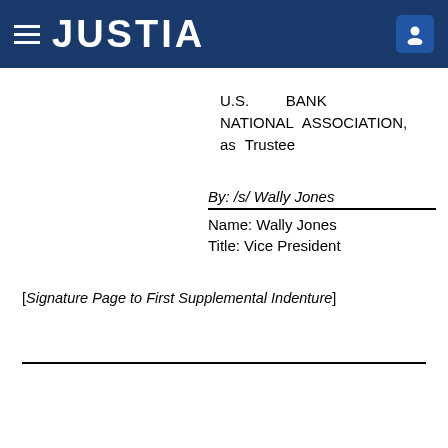JUSTIA
U.S. BANK NATIONAL ASSOCIATION, as Trustee
By: /s/ Wally Jones
Name: Wally Jones
Title: Vice President
[Signature Page to First Supplemental Indenture]
EXHIBIT A